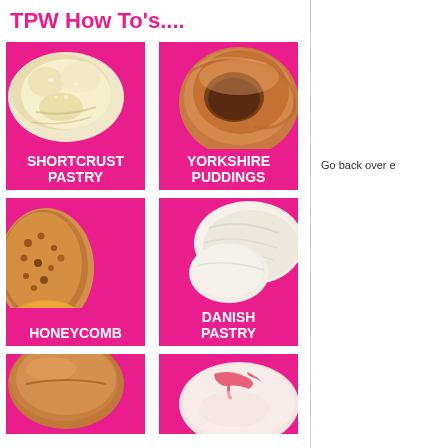TPW How To's....
[Figure (photo): Pink background tile with shortcrust pastry (dough) image, labeled SHORTCRUST PASTRY]
[Figure (photo): Pink background tile with Yorkshire pudding image, labeled YORKSHIRE PUDDINGS]
[Figure (photo): Pink background tile with honeycomb image, labeled HONEYCOMB]
[Figure (photo): Pink background tile with Danish pastry dough image, labeled DANISH PASTRY]
[Figure (photo): Pink background tile with bread roll image, partially cut off at bottom]
[Figure (photo): Pink background tile with pink iced pastry/macaron image, partially cut off at bottom]
Go back over e
Keep going like and makes it to
You're aiming f